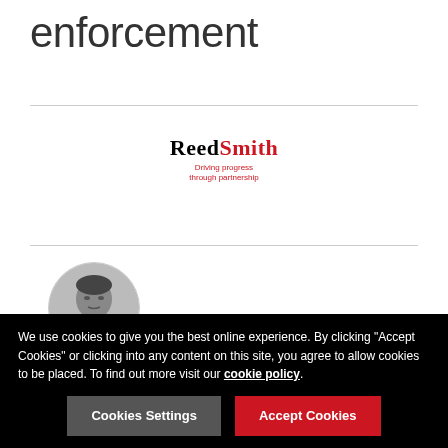enforcement
[Figure (logo): Reed Smith law firm logo with tagline 'Driving progress through partnership']
[Figure (photo): Black and white circular headshot photo of an Asian woman]
China | June 11 2009
On April 27, 2009, the Antimonopoly and Anti-unfair Competition Bureau of the Administration...
We use cookies to give you the best online experience. By clicking "Accept Cookies" or clicking into any content on this site, you agree to allow cookies to be placed. To find out more visit our cookie policy.
Cookies Settings  Accept Cookies